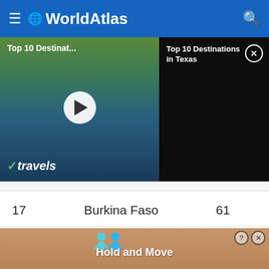WorldAtlas
[Figure (screenshot): Video thumbnail showing 'Top 10 Destinat...' with a river/nature scene and play button, alongside a black panel showing 'Top 10 Destinations in Texas' with a close button]
| 17 | Burkina Faso | 61 |
| 18 | Sierra Leone | 60 |
| 19 | Chad | 52.1 |
SHARE
[Figure (screenshot): Ad banner showing figures and text 'Hold and Move' with help and close buttons]